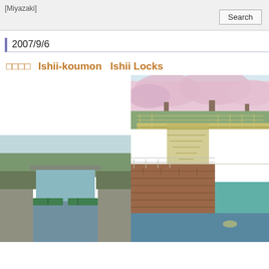[Miyazaki]
Search
2007/9/6
□□□□　Ishii-koumon　Ishii Locks
[Figure (photo): Canal lock gate view from above showing green gate mechanism and waterway with bridge in background]
[Figure (photo): Lock structure with cherry blossom trees above, brick walls, yellow metal railings and stairs, green gate mechanism at water level]